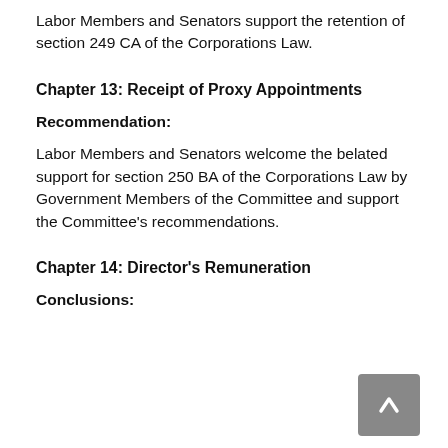Labor Members and Senators support the retention of section 249 CA of the Corporations Law.
Chapter 13: Receipt of Proxy Appointments
Recommendation:
Labor Members and Senators welcome the belated support for section 250 BA of the Corporations Law by Government Members of the Committee and support the Committee’s recommendations.
Chapter 14: Director’s Remuneration
Conclusions: